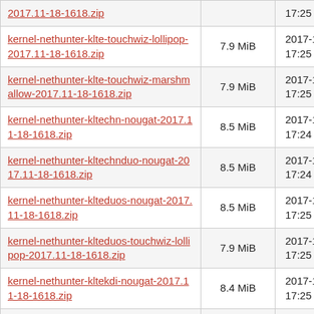| Filename | Size | Date |
| --- | --- | --- |
| 2017.11-18-1618.zip |  | 17:25 EST |
| kernel-nethunter-klte-touchwiz-lollipop-2017.11-18-1618.zip | 7.9 MiB | 2017-11-18 17:25 EST |
| kernel-nethunter-klte-touchwiz-marshmallow-2017.11-18-1618.zip | 7.9 MiB | 2017-11-18 17:25 EST |
| kernel-nethunter-kltechn-nougat-2017.11-18-1618.zip | 8.5 MiB | 2017-11-18 17:24 EST |
| kernel-nethunter-kltechnDuo-nougat-2017.11-18-1618.zip | 8.5 MiB | 2017-11-18 17:24 EST |
| kernel-nethunter-klteduos-nougat-2017.11-18-1618.zip | 8.5 MiB | 2017-11-18 17:25 EST |
| kernel-nethunter-klteduos-touchwiz-lollipop-2017.11-18-1618.zip | 7.9 MiB | 2017-11-18 17:25 EST |
| kernel-nethunter-kltekdi-nougat-2017.11-18-1618.zip | 8.4 MiB | 2017-11-18 17:25 EST |
| kernel-nethunter-kltekdi-touchwiz-lollipop-2017.11-18-1618.zip | 7.9 MiB | 2017-11-18 17:25 EST |
| kernel-nethunter-kltekor-nougat-2017.11-18-1618.zip | 8.2 MiB | 2017-11-18 17:25 EST |